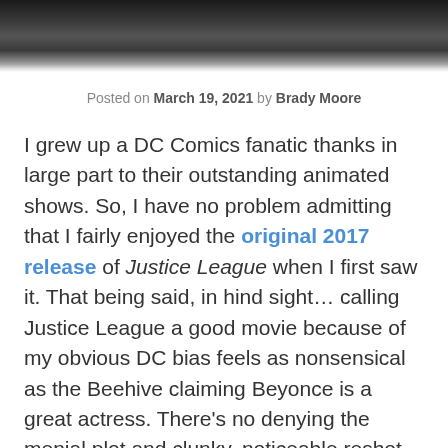[Figure (photo): Black and white photo strip of people, partially visible at the top of the page]
Posted on March 19, 2021 by Brady Moore
I grew up a DC Comics fanatic thanks in large part to their outstanding animated shows. So, I have no problem admitting that I fairly enjoyed the original 2017 release of Justice League when I first saw it. That being said, in hind sight… calling Justice League a good movie because of my obvious DC bias feels as nonsensical as the Beehive claiming Beyonce is a great actress. There's no denying the menial plot and clunky, noticeable reshot scenes after Joss Whedon was given the reigns to make last minute changes by the studio.